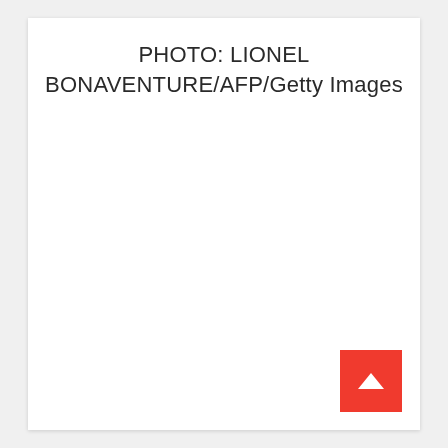PHOTO: LIONEL BONAVENTURE/AFP/Getty Images
[Figure (other): Red back-to-top button with white upward chevron arrow in the bottom-right corner of the page]